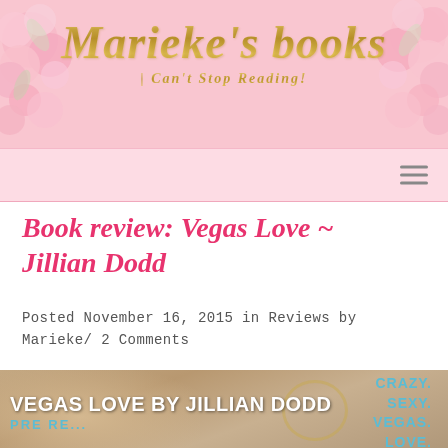Marieke's books | I Can't Stop Reading!
Book review: Vegas Love ~ Jillian Dodd
Posted November 16, 2015 in Reviews by Marieke/ 2 Comments
[Figure (photo): Book cover for Vegas Love by Jillian Dodd. Background shows a blond woman's face. Text overlay reads: CRAZY. SEXY. VEGAS. LOVE. (in blue) and VEGAS LOVE BY JILLIAN DODD in white bold text at the bottom, with PRE... in blue below that.]